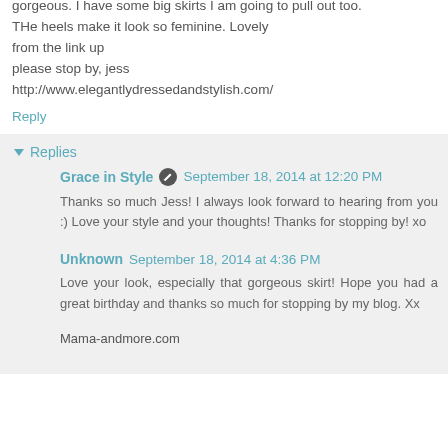gorgeous. I have some big skirts I am going to pull out too. THe heels make it look so feminine. Lovely from the link up please stop by, jess http://www.elegantlydressedandstylish.com/
Reply
Replies
Grace in Style September 18, 2014 at 12:20 PM
Thanks so much Jess! I always look forward to hearing from you :) Love your style and your thoughts! Thanks for stopping by! xo
Unknown September 18, 2014 at 4:36 PM
Love your look, especially that gorgeous skirt! Hope you had a great birthday and thanks so much for stopping by my blog. Xx
Mama-andmore.com